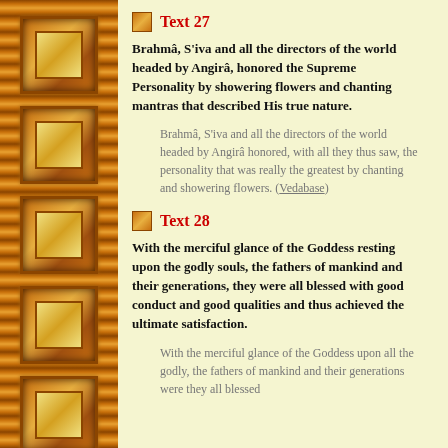Text 27
Brahmâ, S'iva and all the directors of the world headed by Angirâ, honored the Supreme Personality by showering flowers and chanting mantras that described His true nature.
Brahmâ, S'iva and all the directors of the world headed by Angirâ honored, with all they thus saw, the personality that was really the greatest by chanting and showering flowers. (Vedabase)
Text 28
With the merciful glance of the Goddess resting upon the godly souls, the fathers of mankind and their generations, they were all blessed with good conduct and good qualities and thus achieved the ultimate satisfaction.
With the merciful glance of the Goddess upon all the godly, the fathers of mankind and their generations were they all blessed